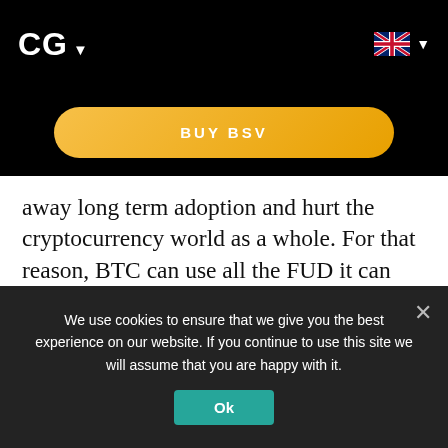CG ▾
[Figure (other): BUY BSV button — orange pill-shaped button with white uppercase text 'BUY BSV']
away long term adoption and hurt the cryptocurrency world as a whole. For that reason, BTC can use all the FUD it can get.
New to Bitcoin? Check out CoinGeek's Bitcoin for Beginners section, the ultimate resource guide to learn more about Bitcoin—as originally envisioned by Satoshi Nakamoto—and
We use cookies to ensure that we give you the best experience on our website. If you continue to use this site we will assume that you are happy with it.